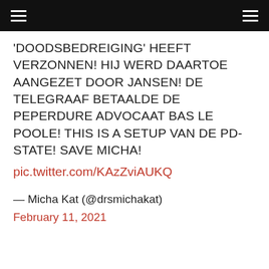'DOODSBEDREIGING' HEEFT VERZONNEN! HIJ WERD DAARTOE AANGEZET DOOR JANSEN! DE TELEGRAAF BETAALDE DE PEPERDURE ADVOCAAT BAS LE POOLE! THIS IS A SETUP VAN DE PD-STATE! SAVE MICHA!
pic.twitter.com/KAzZviAUKQ
— Micha Kat (@drsmichakat)
February 11, 2021